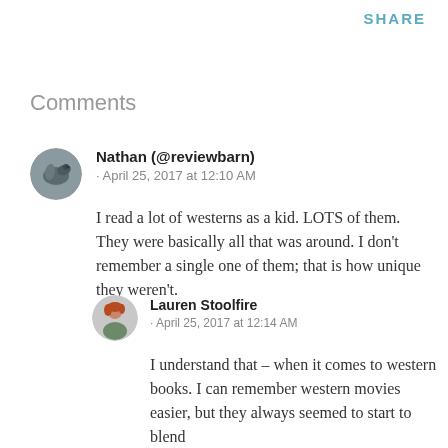SHARE
Comments
Nathan (@reviewbarn)
· April 25, 2017 at 12:10 AM

I read a lot of westerns as a kid. LOTS of them. They were basically all that was around. I don't remember a single one of them; that is how unique they weren't.
Lauren Stoolfire
· April 25, 2017 at 12:14 AM

I understand that – when it comes to western books. I can remember western movies easier, but they always seemed to start to blend